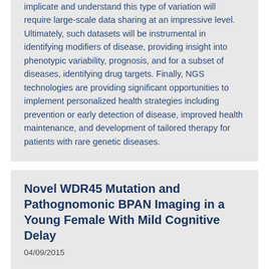implicate and understand this type of variation will require large-scale data sharing at an impressive level. Ultimately, such datasets will be instrumental in identifying modifiers of disease, providing insight into phenotypic variability, prognosis, and for a subset of diseases, identifying drug targets. Finally, NGS technologies are providing significant opportunities to implement personalized health strategies including prevention or early detection of disease, improved health maintenance, and development of tailored therapy for patients with rare genetic diseases.
Novel WDR45 Mutation and Pathognomonic BPAN Imaging in a Young Female With Mild Cognitive Delay
04/09/2015
Pregnancy and birth history were unremarkable. Gross and fine motor developmental milestones were achieved at appropriate times during childhood; however, her mother reported a long-standing history of expressive and receptive